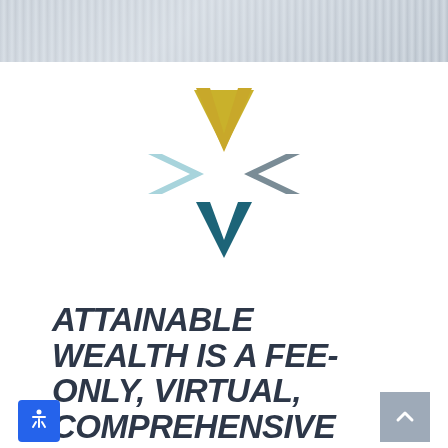[Figure (photo): Partial photo strip at top of page showing blurred light-colored textile or fabric background]
[Figure (logo): Attainable Wealth logo: stylized star/asterisk shape made of four arrow-like chevrons pointing inward — top gold V shape, left light-blue chevron pointing right, right gray chevron pointing left, bottom teal/dark-blue inverted V shape]
ATTAINABLE WEALTH IS A FEE-ONLY, VIRTUAL, COMPREHENSIVE FINANCIAL PLANNING